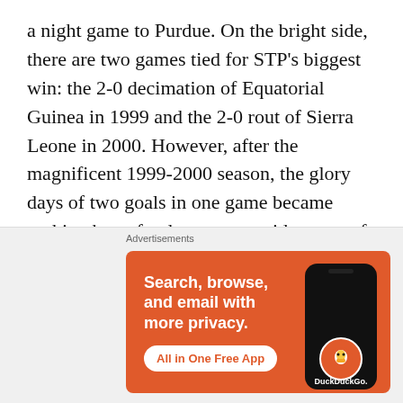a night game to Purdue. On the bright side, there are two games tied for STP's biggest win: the 2-0 decimation of Equatorial Guinea in 1999 and the 2-0 rout of Sierra Leone in 2000. However, after the magnificent 1999-2000 season, the glory days of two goals in one game became nothing but a fond memory amidst a sea of pimp-slaps from various Western African republics. STP's next match is against the Republic of the Congo (yet another rival yellow-green-red flagged country) in November 2011 – who knows? Perhaps they'll break a national record and win by more than 2 goals. But more likely, they'll be curb-
Advertisements
[Figure (infographic): DuckDuckGo advertisement banner with orange background showing 'Search, browse, and email with more privacy. All in One Free App' text and a phone displaying the DuckDuckGo logo.]